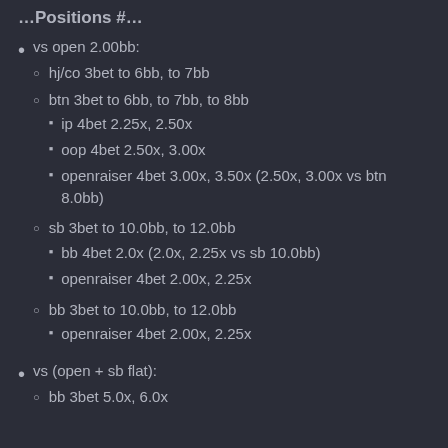...Positions #...
vs open 2.00bb:
hj/co 3bet to 6bb, to 7bb
btn 3bet to 6bb, to 7bb, to 8bb
ip 4bet 2.25x, 2.50x
oop 4bet 2.50x, 3.00x
openraiser 4bet 3.00x, 3.50x (2.50x, 3.00x vs btn 8.0bb)
sb 3bet to 10.0bb, to 12.0bb
bb 4bet 2.0x (2.0x, 2.25x vs sb 10.0bb)
openraiser 4bet 2.00x, 2.25x
bb 3bet to 10.0bb, to 12.0bb
openraiser 4bet 2.00x, 2.25x
vs (open + sb flat):
bb 3bet 5.0x, 6.0x